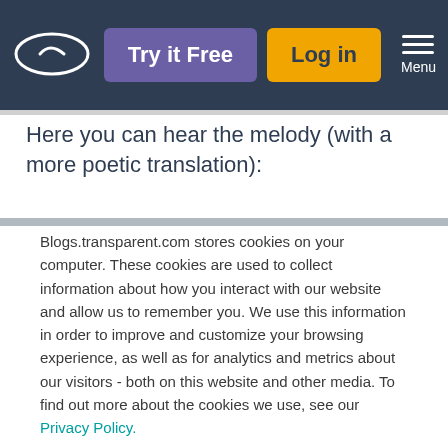Try it Free | Log in | Menu
Here you can hear the melody (with a more poetic translation):
Blogs.transparent.com stores cookies on your computer. These cookies are used to collect information about how you interact with our website and allow us to remember you. We use this information in order to improve and customize your browsing experience, as well as for analytics and metrics about our visitors - both on this website and other media. To find out more about the cookies we use, see our Privacy Policy.
If you decline, your information won’t be tracked when you visit this website. A single cookie will be used in your browser to remember your preference not to be tracked.
Accept | Decline